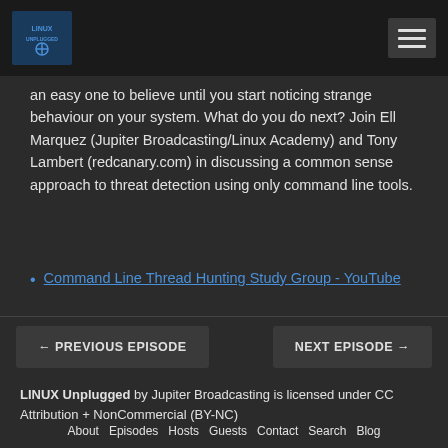Linux Unplugged - Logo and navigation menu
an easy one to believe until you start noticing strange behaviour on your system. What do you do next? Join Ell Marquez (Jupiter Broadcasting/Linux Academy) and Tony Lambert (redcanary.com) in discussing a common sense approach to threat detection using only command line tools.
Command Line Thread Hunting Study Group - YouTube
← PREVIOUS EPISODE    NEXT EPISODE →
LINUX Unplugged by Jupiter Broadcasting is licensed under CC Attribution + NonCommercial (BY-NC)
About  Episodes  Hosts  Guests  Contact  Search  Blog  Mumble Info  Matrix Info  Matrix Community  Core Contributor  Jupiter Broadcasting  Garage Sale  Subscribe